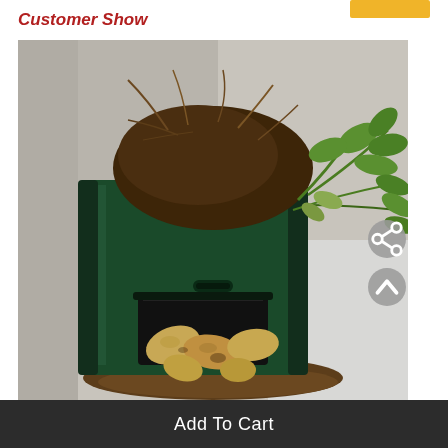Customer Show
[Figure (photo): A dark green plastic growing bag with an access flap open at the bottom revealing freshly harvested yellow potatoes, with plant roots and green foliage visible at the top of the bag. The bag is sitting on a concrete surface with scattered soil.]
Add To Cart